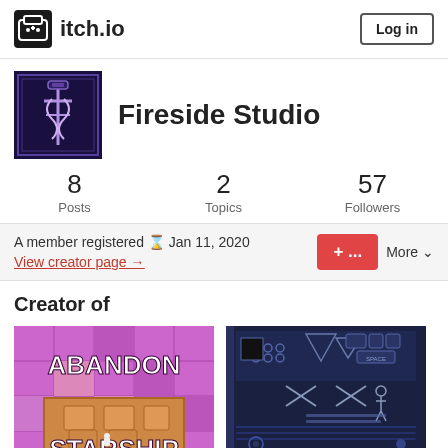itch.io — Log in
[Figure (logo): itch.io logo with gamepad icon and 'itch.io' text, plus Log in button]
[Figure (photo): Fireside Studio profile avatar — dark purple background with stylized logo]
Fireside Studio
8 Posts   2 Topics   57 Followers
A member registered Jan 11, 2020
View creator page →
Creator of
[Figure (screenshot): ABANDON STARSHIP game thumbnail — pink/purple pixel art with title text]
[Figure (screenshot): Second game thumbnail — dark blue pixel art game screen with keyboard controls]